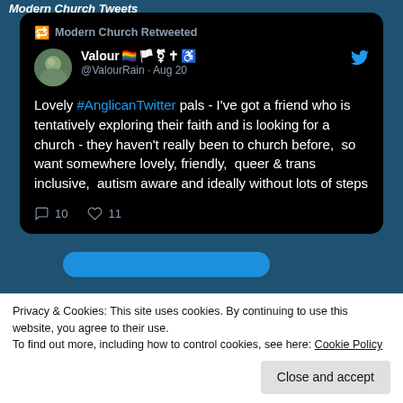Modern Church Tweets
[Figure (screenshot): Screenshot of a Twitter/X retweet card from @ValourRain (Valour with pride flag, white flag, trans symbol, cross, and accessibility symbol emojis) dated Aug 20. Text: 'Lovely #AnglicanTwitter pals - I've got a friend who is tentatively exploring their faith and is looking for a church - they haven't really been to church before, so want somewhere lovely, friendly, queer & trans inclusive, autism aware and ideally without lots of steps'. 10 replies, 11 likes.]
Privacy & Cookies: This site uses cookies. By continuing to use this website, you agree to their use.
To find out more, including how to control cookies, see here: Cookie Policy
Close and accept